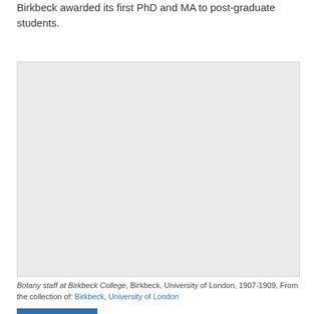Birkbeck awarded its first PhD and MA to post-graduate students.
[Figure (photo): A blank/light grey placeholder rectangle representing a historical photograph of Botany staff at Birkbeck College, 1907-1909.]
Botany staff at Birkbeck College, Birkbeck, University of London, 1907-1909, From the collection of: Birkbeck, University of London